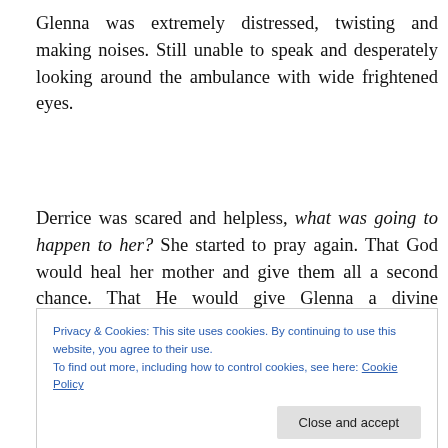Glenna was extremely distressed, twisting and making noises. Still unable to speak and desperately looking around the ambulance with wide frightened eyes.
Derrice was scared and helpless, what was going to happen to her? She started to pray again. That God would heal her mother and give them all a second chance. That He would give Glenna a divine encounter with Him, so that
Privacy & Cookies: This site uses cookies. By continuing to use this website, you agree to their use.
To find out more, including how to control cookies, see here: Cookie Policy
it as a hovering blanket of power or mist," she says, "but it